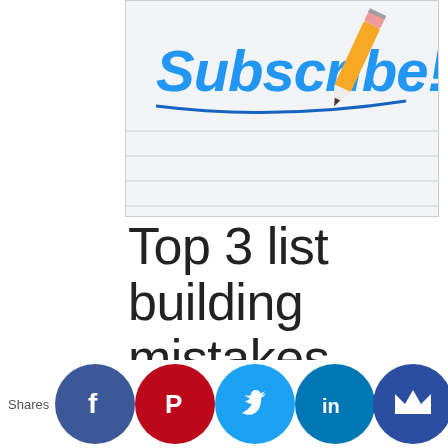[Figure (illustration): Subscribe graphic with stylized blue cursive 'Subscribe!' text and a pencil illustration on a lined notepad background]
Top 3 list building mistakes
Have you been trying to grow your list, but find your efforts aren't making an impact? Or maybe you've started building your list, but find that it's slow going and your new subscribers are few and far between.And when you do have new people join your list, are people to them payi
Shares [social share buttons: Facebook, Pinterest, Twitter, LinkedIn, Crown]